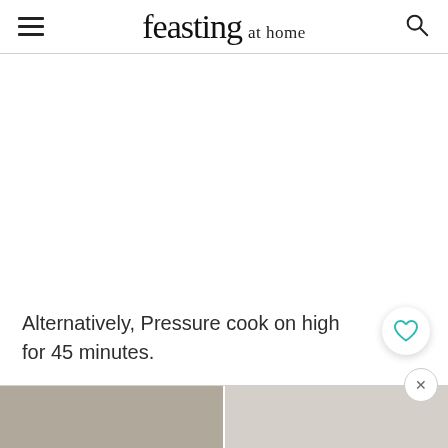feasting at home
[Figure (photo): Large white/blank content area, likely placeholder for a recipe image]
Alternatively, Pressure cook on high for 45 minutes.
[Figure (photo): Two food/recipe thumbnail images at the bottom of the page]